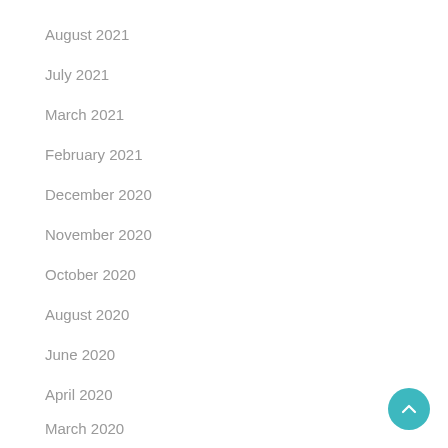August 2021
July 2021
March 2021
February 2021
December 2020
November 2020
October 2020
August 2020
June 2020
April 2020
March 2020